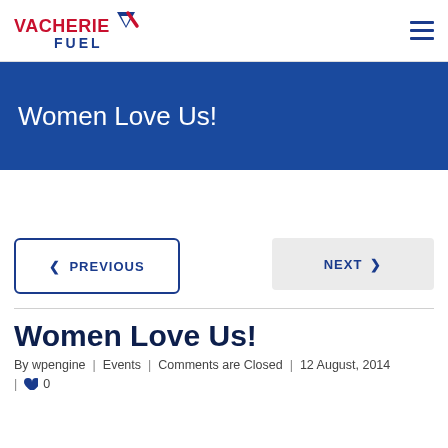VACHERIE FUEL (logo) — navigation bar with hamburger menu
Women Love Us!
PREVIOUS  |  NEXT navigation buttons
Women Love Us!
By wpengine  |  Events  |  Comments are Closed  |  12 August, 2014  |  ♥ 0